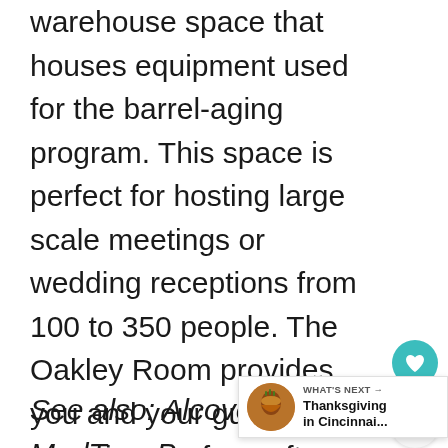warehouse space that houses equipment used for the barrel-aging program. This space is perfect for hosting large scale meetings or wedding receptions from 100 to 350 people. The Oakley Room provides you and your guests the experience of a craft brewery in a private setting. This space boasts versatility — perfect for hosting an intimate rehearsal dinner for 35 guests or a corporate cocktail reception for 140.
See also: Alcove by MadTree B… – info above
[Figure (infographic): Teal circular heart/favorite button and grey circular share button on right side]
[Figure (infographic): What's Next widget showing Thanksgiving in Cincinnati thumbnail and label]